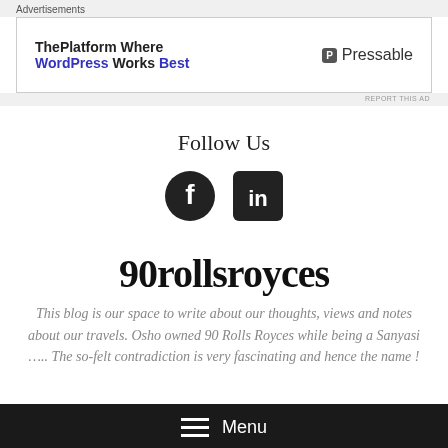Advertisements
[Figure (infographic): Advertisement banner: ThePlatform Where WordPress Works Best — Pressable logo]
REPORT THIS AD
Follow Us
[Figure (infographic): Social media icons: Facebook and LinkedIn]
90rollsroyces
This blog is our space to write about our thoughts, views and notes about our travels. Osho owned 90 Rolls Royces while being a Sanyasi ….. The so-felt contradiction is very fascinating and hence the name !
Menu